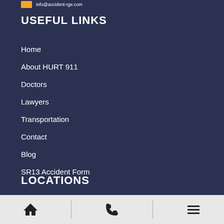info@accident-rge.com
USEFUL LINKS
Home
About HURT 911
Doctors
Lawyers
Transportation
Contact
Blog
SR13 Accident Form
LOCATIONS
Home | Phone | Menu